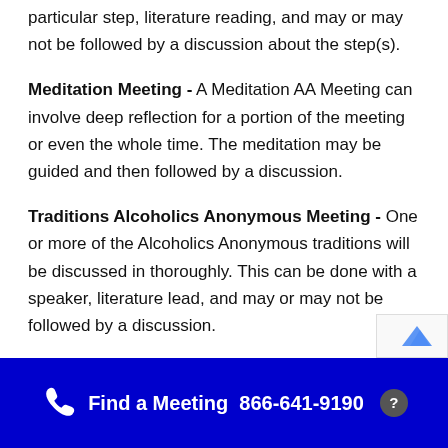particular step, literature reading, and may or may not be followed by a discussion about the step(s).
Meditation Meeting - A Meditation AA Meeting can involve deep reflection for a portion of the meeting or even the whole time. The meditation may be guided and then followed by a discussion.
Traditions Alcoholics Anonymous Meeting - One or more of the Alcoholics Anonymous traditions will be discussed in thoroughly. This can be done with a speaker, literature lead, and may or may not be followed by a discussion.
Find a Meeting  866-641-9190